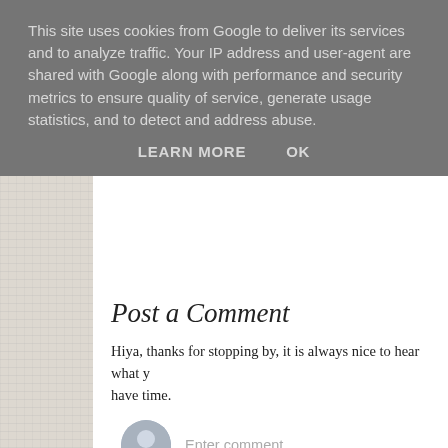This site uses cookies from Google to deliver its services and to analyze traffic. Your IP address and user-agent are shared with Google along with performance and security metrics to ensure quality of service, generate usage statistics, and to detect and address abuse.
LEARN MORE    OK
Post a Comment
Hiya, thanks for stopping by, it is always nice to hear what y... have time.
Enter comment
Newer Post
Home
Subscribe to: Post Comments (Atom)